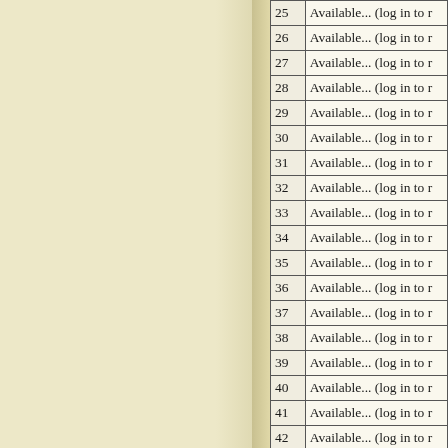| # | Content |
| --- | --- |
| 25 | Available... (log in to r |
| 26 | Available... (log in to r |
| 27 | Available... (log in to r |
| 28 | Available... (log in to r |
| 29 | Available... (log in to r |
| 30 | Available... (log in to r |
| 31 | Available... (log in to r |
| 32 | Available... (log in to r |
| 33 | Available... (log in to r |
| 34 | Available... (log in to r |
| 35 | Available... (log in to r |
| 36 | Available... (log in to r |
| 37 | Available... (log in to r |
| 38 | Available... (log in to r |
| 39 | Available... (log in to r |
| 40 | Available... (log in to r |
| 41 | Available... (log in to r |
| 42 | Available... (log in to r |
| 43 | Available... (log in to r |